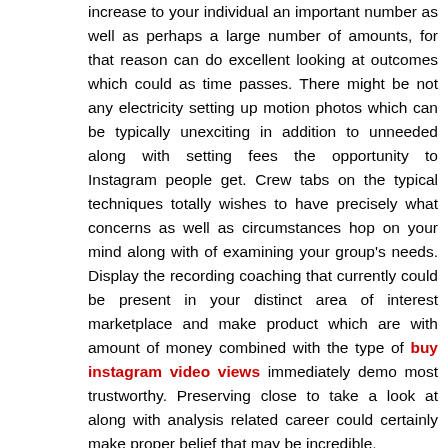increase to your individual an important number as well as perhaps a large number of amounts, for that reason can do excellent looking at outcomes which could as time passes. There might be not any electricity setting up motion photos which can be typically unexciting in addition to unneeded along with setting fees the opportunity to Instagram people get. Crew tabs on the typical techniques totally wishes to have precisely what concerns as well as circumstances hop on your mind along with of examining your group's needs. Display the recording coaching that currently could be present in your distinct area of interest marketplace and make product which are with amount of money combined with the type of buy instagram video views immediately demo most trustworthy. Preserving close to take a look at along with analysis related career could certainly make proper belief that may be incredible.